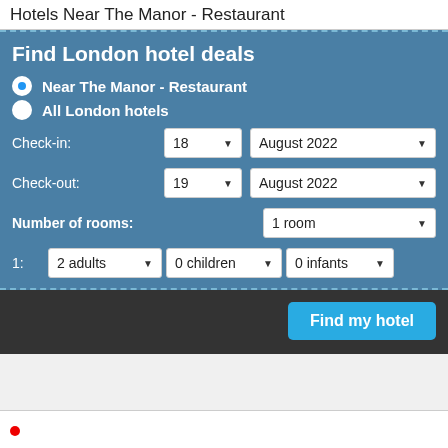Hotels Near The Manor - Restaurant
Find London hotel deals
Near The Manor - Restaurant
All London hotels
Check-in:
18 ▾   August 2022 ▾
Check-out:
19 ▾   August 2022 ▾
Number of rooms:
1 room ▾
1:
2 adults ▾   0 children ▾   0 infants ▾
Find my hotel